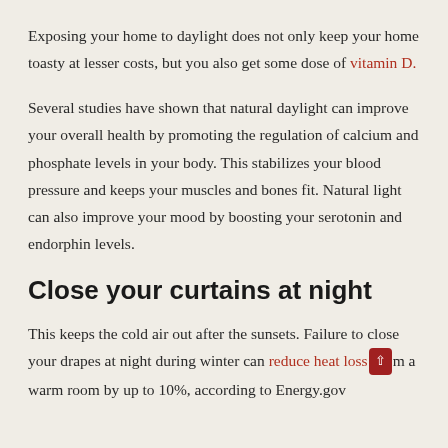Exposing your home to daylight does not only keep your home toasty at lesser costs, but you also get some dose of vitamin D.
Several studies have shown that natural daylight can improve your overall health by promoting the regulation of calcium and phosphate levels in your body. This stabilizes your blood pressure and keeps your muscles and bones fit. Natural light can also improve your mood by boosting your serotonin and endorphin levels.
Close your curtains at night
This keeps the cold air out after the sunsets. Failure to close your drapes at night during winter can reduce heat loss from a warm room by up to 10%, according to Energy.gov